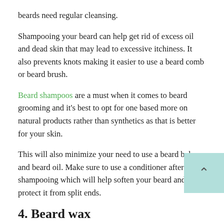beards need regular cleansing.
Shampooing your beard can help get rid of excess oil and dead skin that may lead to excessive itchiness. It also prevents knots making it easier to use a beard comb or beard brush.
Beard shampoos are a must when it comes to beard grooming and it's best to opt for one based more on natural products rather than synthetics as that is better for your skin.
This will also minimize your need to use a beard balm and beard oil. Make sure to use a conditioner after shampooing which will help soften your beard and protect it from split ends.
4. Beard wax